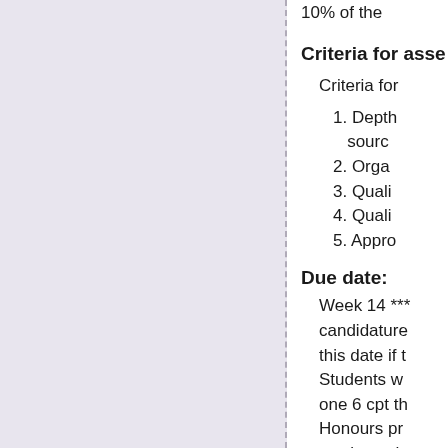10% of the
Criteria for asse
Criteria for
1. Depth source
2. Organ
3. Quali
4. Quali
5. Appro
Due date:
Week 14 *** candidature this date if this Students w one 6 cpt th Honours pr weeks to th
Assessment task
Title:
Interim Pre